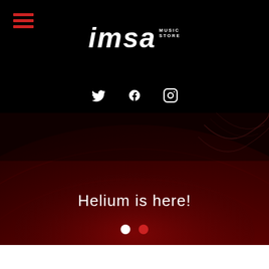[Figure (logo): IMSA Music Store logo — white bold italic text on black background with hamburger menu icon in red on the left]
[Figure (infographic): Social media icons row: Twitter bird, Facebook f, Instagram camera — white icons on black background]
[Figure (photo): Hero image of a dark red planet surface with text 'Helium is here!' and two carousel dots (white and red) at the bottom]
Helium is here!